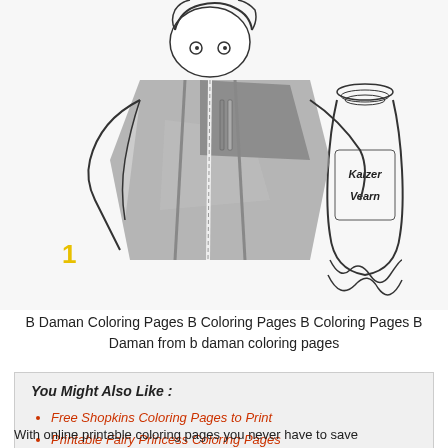[Figure (illustration): Anime-style line drawing of a character holding something, wearing overalls with a tape measure. A bottle labeled 'Kaizer Vearn' is to the right. Number '1' in yellow appears bottom-left. Partially colored with grey.]
B Daman Coloring Pages B Coloring Pages B Coloring Pages B Daman from b daman coloring pages
You Might Also Like :
Free Shopkins Coloring Pages to Print
Printable Fairy Princess Coloring Pages
The Very Hungry Caterpillar Coloring Page
With online printable coloring pages you never have to save